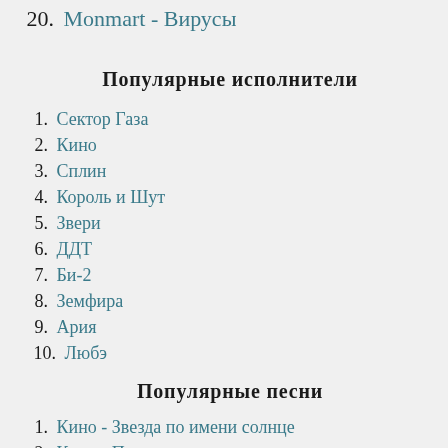20. Monmart - Вирусы
Популярные исполнители
1. Сектор Газа
2. Кино
3. Сплин
4. Король и Шут
5. Звери
6. ДДТ
7. Би-2
8. Земфира
9. Ария
10. Любэ
Популярные песни
1. Кино - Звезда по имени солнце
2. Кино - Пачка сигарет
3. Жуки - Батарейка
4. Баста - Сансара